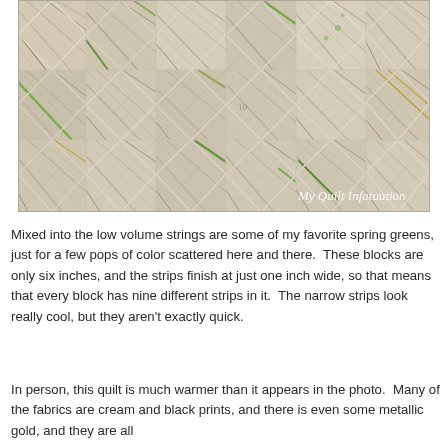[Figure (photo): A quilt laid on a light background, showing a pattern made of thin strips of fabric in low-volume neutrals (cream, beige, tan, white, grey) with occasional pops of spring green. The quilt blocks are arranged in a geometric diagonal string pattern. A watermark reads 'My Quilt Infatuation' in the lower right corner.]
Mixed into the low volume strings are some of my favorite spring greens, just for a few pops of color scattered here and there.  These blocks are only six inches, and the strips finish at just one inch wide, so that means that every block has nine different strips in it.  The narrow strips look really cool, but they aren't exactly quick.
In person, this quilt is much warmer than it appears in the photo.  Many of the fabrics are cream and black prints, and there is even some metallic gold, and they are all